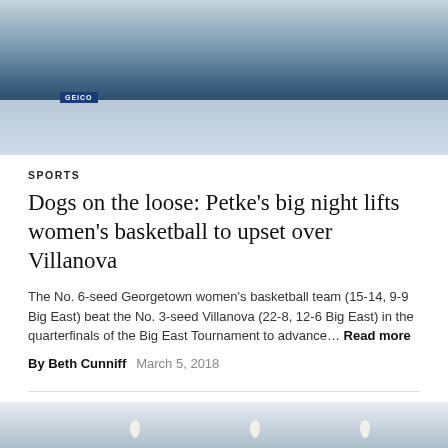[Figure (photo): Basketball game action photo showing players on a court with GEICO signage visible]
SPORTS
Dogs on the loose: Petke's big night lifts women's basketball to upset over Villanova
The No. 6-seed Georgetown women's basketball team (15-14, 9-9 Big East) beat the No. 3-seed Villanova (22-8, 12-6 Big East) in the quarterfinals of the Big East Tournament to advance... Read more
By Beth Cunniff   March 5, 2018
[Figure (photo): Basketball action photo showing a player reaching up for the ball]